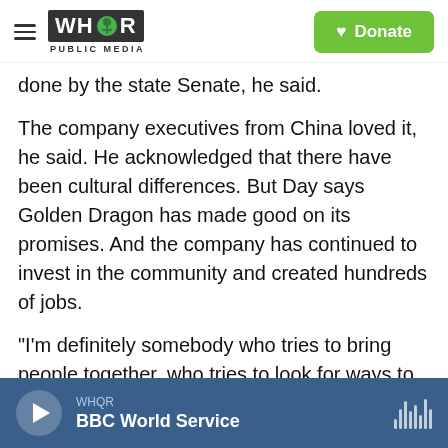WHQR Public Media | Donate
done by the state Senate, he said.
The company executives from China loved it, he said. He acknowledged that there have been cultural differences. But Day says Golden Dragon has made good on its promises. And the company has continued to invest in the community and created hundreds of jobs.
"I'm definitely somebody who tries to bring people together, who tries to look for ways to do business rather than try not to," said Day. "I do think that we would be — the whole world will be — a better place if we sit and talk to each other more and do
WHQR | BBC World Service